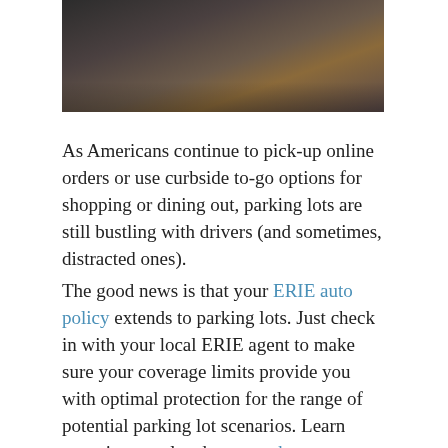[Figure (photo): Partial view of a person sitting in a car, wearing a dark jacket and orange/rust colored pants, shot from inside the vehicle near the steering wheel area.]
As Americans continue to pick-up online orders or use curbside to-go options for shopping or dining out, parking lots are still bustling with drivers (and sometimes, distracted ones).
The good news is that your ERIE auto policy extends to parking lots. Just check in with your local ERIE agent to make sure your coverage limits provide you with optimal protection for the range of potential parking lot scenarios. Learn more in our related story on how insurance can cover parking lot accidents.